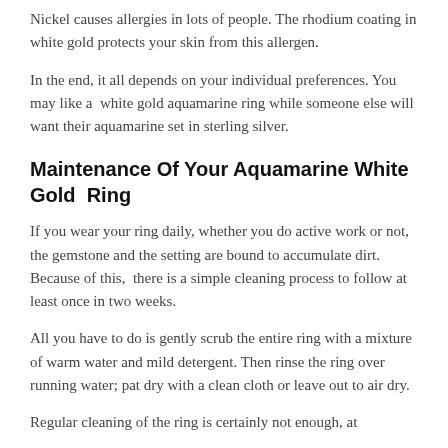Nickel causes allergies in lots of people. The rhodium coating in white gold protects your skin from this allergen.
In the end, it all depends on your individual preferences. You may like a  white gold aquamarine ring while someone else will want their aquamarine set in sterling silver.
Maintenance Of Your Aquamarine White Gold  Ring
If you wear your ring daily, whether you do active work or not, the gemstone and the setting are bound to accumulate dirt. Because of this,  there is a simple cleaning process to follow at least once in two weeks.
All you have to do is gently scrub the entire ring with a mixture of warm water and mild detergent. Then rinse the ring over running water; pat dry with a clean cloth or leave out to air dry.
Regular cleaning of the ring is certainly not enough, at